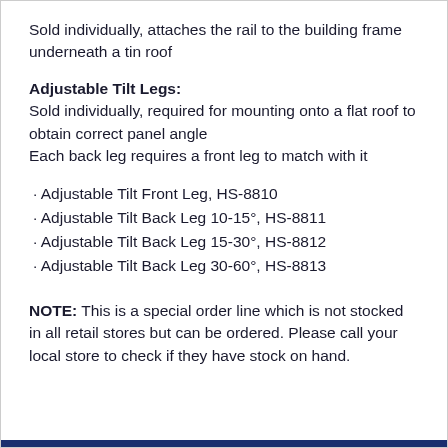Sold individually, attaches the rail to the building frame underneath a tin roof
Adjustable Tilt Legs:
Sold individually, required for mounting onto a flat roof to obtain correct panel angle
Each back leg requires a front leg to match with it
· Adjustable Tilt Front Leg, HS-8810
· Adjustable Tilt Back Leg 10-15°, HS-8811
· Adjustable Tilt Back Leg 15-30°, HS-8812
· Adjustable Tilt Back Leg 30-60°, HS-8813
NOTE: This is a special order line which is not stocked in all retail stores but can be ordered. Please call your local store to check if they have stock on hand.